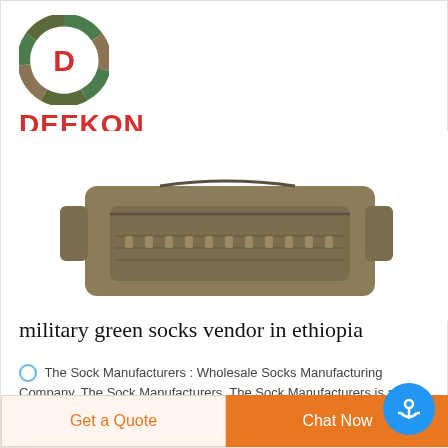[Figure (logo): Deekon logo: circular camouflage pattern with red D letter inside, and DEEKON text in bold red below]
[Figure (photo): A tan/coyote brown military tactical waist/hip pack bag with molle webbing and multiple zippered compartments, shown from the front against a white background]
military green socks vendor in ethiopia
The Sock Manufacturers : Wholesale Socks Manufacturing Company. The Sock Manufacturers. The Sock Manufacturers is a prominent wholesale socks manufacturing company in the United States One
Get a Quote
Chat Now